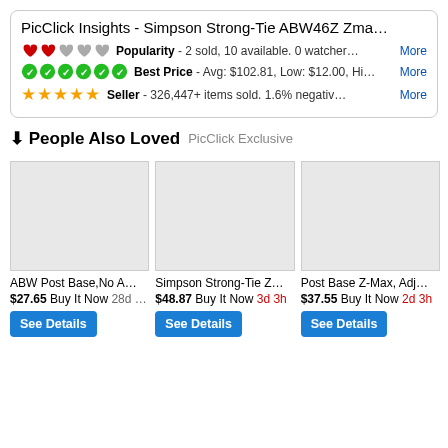PicClick Insights - Simpson Strong-Tie ABW46Z Zma…
❤❤♡♡♡ Popularity - 2 sold, 10 available. 0 watcher… More
⬤⬤⬤⬤⬤⬤ Best Price - Avg: $102.81, Low: $12.00, Hi… More
★★★★★ Seller - 326,447+ items sold. 1.6% negativ… More
↓ People Also Loved PicClick Exclusive
ABW Post Base,No A…
$27.65 Buy It Now 28d …
Simpson Strong-Tie Z…
$48.87 Buy It Now 3d 3h
Post Base Z-Max, Adj…
$37.55 Buy It Now 2d 3h